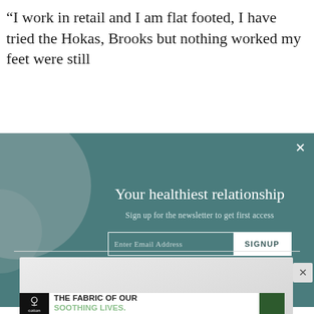“I work in retail and I am flat footed, I have tried the Hokas, Brooks but nothing worked my feet were still
[Figure (screenshot): Newsletter signup modal overlay with teal/dark green background, decorative circle shapes on left, white title 'Your healthiest relationship', subtitle 'Sign up for the newsletter to get first access', email input field with SIGNUP button, and X close button in top right corner.]
[Figure (screenshot): Light gray placeholder advertisement box below a horizontal divider, with a close X button on the right side.]
[Figure (screenshot): Cotton advertisement banner at the bottom with black logo box containing cotton plant icon and 'cotton' text, bold text reading 'THE FABRIC OF OUR SOOTHING LIVES.' with green pants image on the right.]